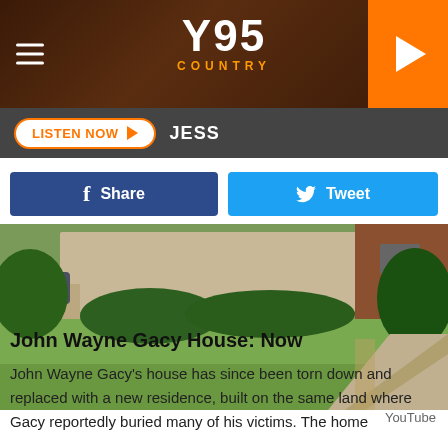Y95 COUNTRY
LISTEN NOW  JESS
Share
Tweet
[Figure (photo): Exterior view of a suburban house with green lawn, hedges, trees, a parked car, and a sidewalk along the right side. Brick wall visible on right edge.]
YouTube
John Wayne Gacy House: Now
John Wayne Gacy's house has since been torn down and replaced with a new residence, built on the same land where Gacy reportedly buried many of his victims. The home